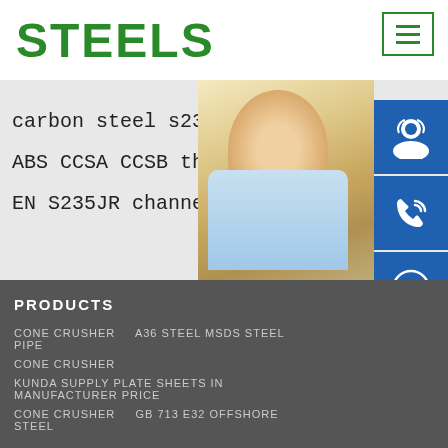STEELS
carbon steel s235 properties PDF
ABS CCSA CCSB thickness 6 120mm
EN S235JR channel steel manufactu
[Figure (photo): Woman with headset customer service photo with contact icons (headset, phone, Skype) and overlay text: MANUAL SE, QUOTING O, Email: bsteel1@163.com]
PRODUCTS
CONE CRUSHER    A36 STEEL MSDS STEEL PIPE
CONE CRUSHER
KUNDA SUPPLY PLATE SHEETS IN MANUFACTURER PRICE
CONE CRUSHER    GB 713 E32 OFFSHORE STEEL